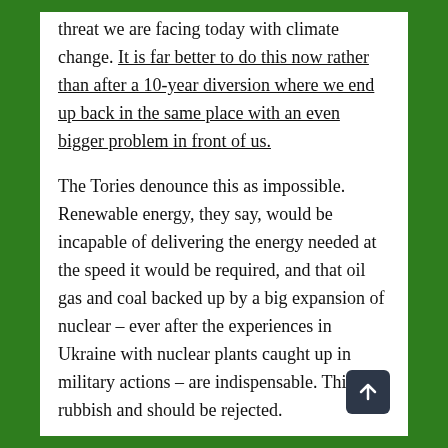threat we are facing today with climate change. It is far better to do this now rather than after a 10-year diversion where we end up back in the same place with an even bigger problem in front of us.
The Tories denounce this as impossible. Renewable energy, they say, would be incapable of delivering the energy needed at the speed it would be required, and that oil gas and coal backed up by a big expansion of nuclear – ever after the experiences in Ukraine with nuclear plants caught up in military actions – are indispensable. This is rubbish and should be rejected.